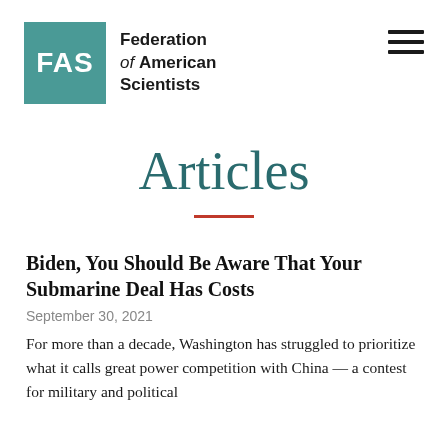[Figure (logo): Federation of American Scientists logo: teal square with white FAS text, beside organization name]
Articles
Biden, You Should Be Aware That Your Submarine Deal Has Costs
September 30, 2021
For more than a decade, Washington has struggled to prioritize what it calls great power competition with China — a contest for military and political